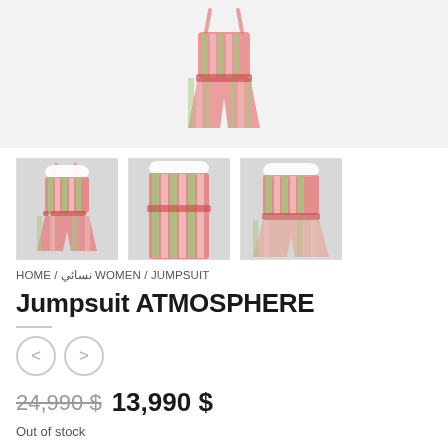[Figure (photo): Large main product image area showing a colorful striped pink/green jumpsuit on a white background (mostly white/light gray placeholder)]
[Figure (photo): Thumbnail 1: Full-length view of colorful striped pink and green jumpsuit with spaghetti straps, on mannequin against grey background]
[Figure (photo): Thumbnail 2: Close-up front view of colorful striped pink and green jumpsuit bodice]
[Figure (photo): Thumbnail 3: Slightly angled view of colorful striped pink and green jumpsuit]
HOME / نسائي WOMEN / JUMPSUIT
Jumpsuit ATMOSPHERE
< >
24,990 $  13,990 $
Out of stock